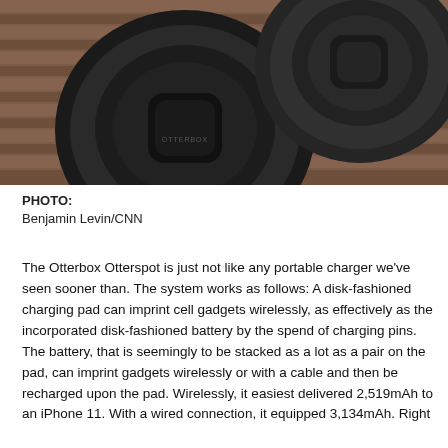[Figure (photo): Two circular Otterbox wireless charging pads (one with Otterbox branding visible) placed on a wooden slatted surface, photographed from above.]
PHOTO:
Benjamin Levin/CNN
The Otterbox Otterspot is just not like any portable charger we've seen sooner than. The system works as follows: A disk-fashioned charging pad can imprint cell gadgets wirelessly, as effectively as the incorporated disk-fashioned battery by the spend of charging pins. The battery, that is seemingly to be stacked as a lot as a pair on the pad, can imprint gadgets wirelessly or with a cable and then be recharged upon the pad. Wirelessly, it easiest delivered 2,519mAh to an iPhone 11. With a wired connection, it equipped 3,134mAh. Right